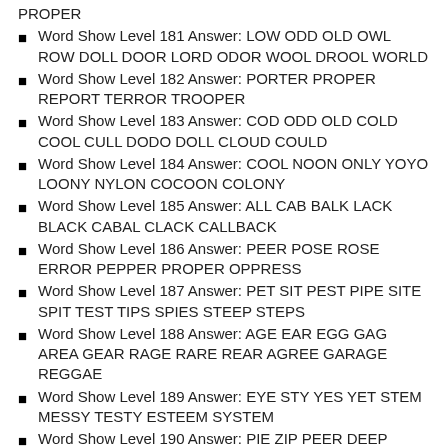PROPER
Word Show Level 181 Answer: LOW ODD OLD OWL ROW DOLL DOOR LORD ODOR WOOL DROOL WORLD
Word Show Level 182 Answer: PORTER PROPER REPORT TERROR TROOPER
Word Show Level 183 Answer: COD ODD OLD COLD COOL CULL DODO DOLL CLOUD COULD
Word Show Level 184 Answer: COOL NOON ONLY YOYO LOONY NYLON COCOON COLONY
Word Show Level 185 Answer: ALL CAB BALK LACK BLACK CABAL CLACK CALLBACK
Word Show Level 186 Answer: PEER POSE ROSE ERROR PEPPER PROPER OPPRESS
Word Show Level 187 Answer: PET SIT PEST PIPE SITE SPIT TEST TIPS SPIES STEEP STEPS
Word Show Level 188 Answer: AGE EAR EGG GAG AREA GEAR RAGE RARE REAR AGREE GARAGE REGGAE
Word Show Level 189 Answer: EYE STY YES YET STEM MESSY TESTY ESTEEM SYSTEM
Word Show Level 190 Answer: PIE ZIP PEER DEEP